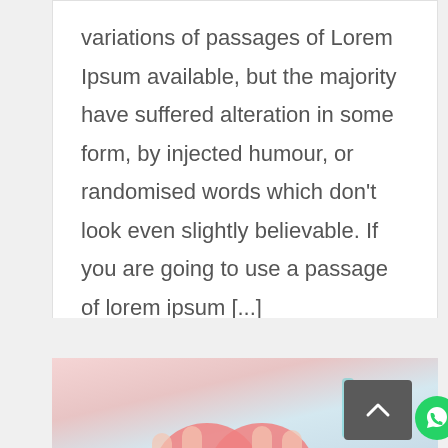variations of passages of Lorem Ipsum available, but the majority have suffered alteration in some form, by injected humour, or randomised words which don't look even slightly believable. If you are going to use a passage of lorem ipsum [...]
[Figure (photo): Partial photo of a person holding a pink heart shape, cropped at bottom of page, with a back-to-top button overlay and WhatsApp icon]